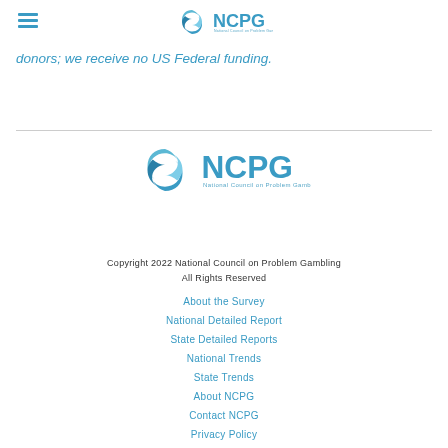NCPG - National Council on Problem Gambling
donors; we receive no US Federal funding.
[Figure (logo): NCPG National Council on Problem Gambling logo with spiral icon]
Copyright 2022 National Council on Problem Gambling
All Rights Reserved
About the Survey
National Detailed Report
State Detailed Reports
National Trends
State Trends
About NCPG
Contact NCPG
Privacy Policy